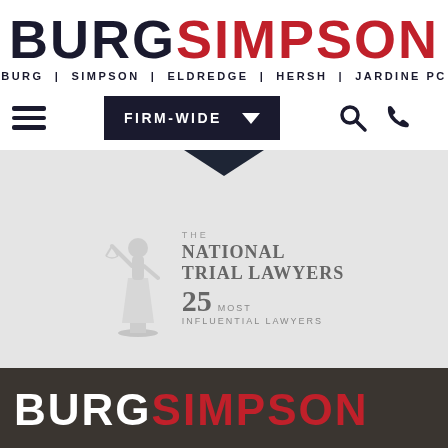[Figure (logo): Burg Simpson law firm logo with BURG in dark navy and SIMPSON in red, bold large letters, below: BURG | SIMPSON | ELDREDGE | HERSH | JARDINE PC]
[Figure (screenshot): Navigation bar with hamburger menu, FIRM-WIDE dropdown in dark navy, search and phone icons]
[Figure (logo): The National Trial Lawyers 25 Most Influential Lawyers badge/logo in gray tones on light gray background]
[Figure (logo): Footer with BURGSIMPSON logo, BURG in white and SIMPSON in red on dark brown background]